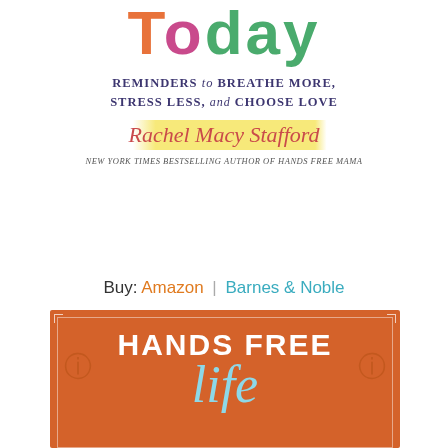[Figure (illustration): Book cover for 'Live Today: Reminders to Breathe More, Stress Less, and Choose Love' by Rachel Macy Stafford. Colorful hand-lettered title text in orange, pink, and green on white background. Author name in red cursive script with yellow highlight. Subtitle in dark purple uppercase letters.]
Buy: Amazon | Barnes & Noble
[Figure (illustration): Book cover for 'Hands Free Life' by Rachel Macy Stafford. Orange background with white hand-lettered title text 'HANDS FREE' and light blue cursive 'life' text. Decorative white border with corner squares and swirl decorations.]